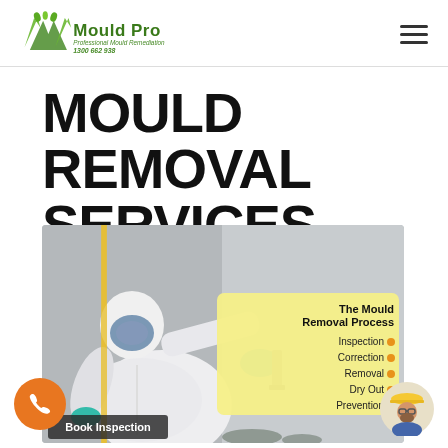Mould Pro - Professional Mould Remediation - 1300 662 938
MOULD REMOVAL SERVICES
[Figure (photo): A worker in a white hazmat suit and blue gloves using a scraper on a wall with yellow markings. Overlaid infographic box titled 'The Mould Removal Process' listing: Inspection, Correction, Removal, Dry Out, Prevention — each with an orange dot. A 'Book Inspection' button at bottom left. Orange phone call button bottom-left corner. Worker avatar icon bottom-right corner.]